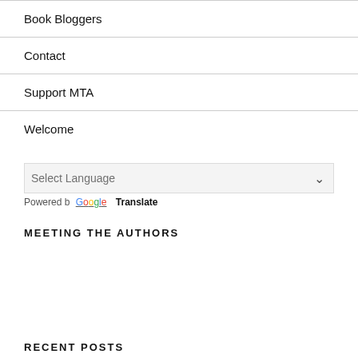Book Bloggers
Contact
Support MTA
Welcome
Select Language — Powered by Google Translate
MEETING THE AUTHORS
RECENT POSTS